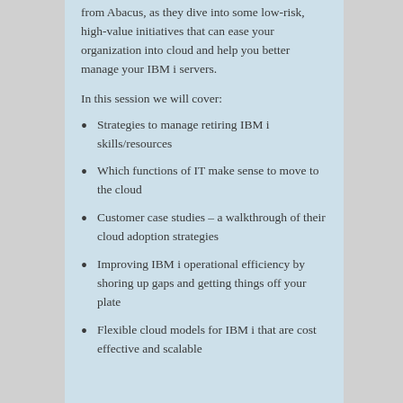from Abacus, as they dive into some low-risk, high-value initiatives that can ease your organization into cloud and help you better manage your IBM i servers.
In this session we will cover:
Strategies to manage retiring IBM i skills/resources
Which functions of IT make sense to move to the cloud
Customer case studies – a walkthrough of their cloud adoption strategies
Improving IBM i operational efficiency by shoring up gaps and getting things off your plate
Flexible cloud models for IBM i that are cost effective and scalable